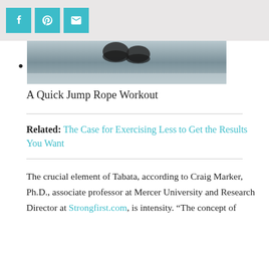Social share buttons: Facebook, Pinterest, Email
[Figure (photo): A person jumping rope, photo cropped to show feet/shoes in the air above a floor surface, black and white tones]
A Quick Jump Rope Workout
Related: The Case for Exercising Less to Get the Results You Want
The crucial element of Tabata, according to Craig Marker, Ph.D., associate professor at Mercer University and Research Director at Strongfirst.com, is intensity. “The concept of